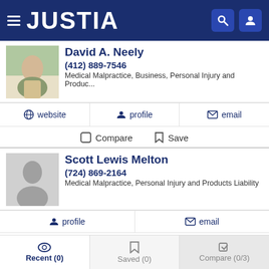JUSTIA
David A. Neely
(412) 889-7546
Medical Malpractice, Business, Personal Injury and Produc...
website  profile  email
Compare  Save
Scott Lewis Melton
(724) 869-2164
Medical Malpractice, Personal Injury and Products Liability
profile  email
Compare  Save
Recent (0)  Saved (0)  Compare (0/3)